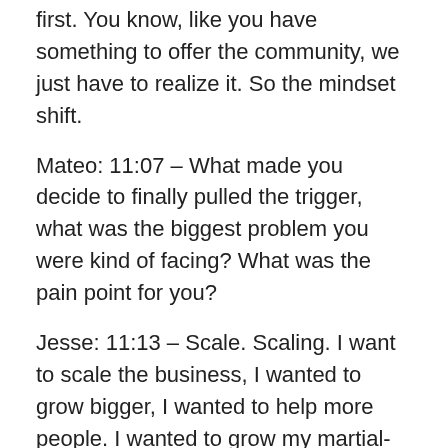first. You know, like you have something to offer the community, we just have to realize it. So the mindset shift.
Mateo: 11:07 – What made you decide to finally pulled the trigger, what was the biggest problem you were kind of facing? What was the pain point for you?
Jesse: 11:13 – Scale. Scaling. I want to scale the business, I wanted to grow bigger, I wanted to help more people. I wanted to grow my martial-arts team. I had targets in my mind. I wanted to hit like long-term goals and I knew that I needed some sort of scalability, systems being the biggest one.
Mateo: 11:26 – Nice. And I know you said you work with Brian and then Kaleda; since then, what were kind of biggest changes you started to see after the first